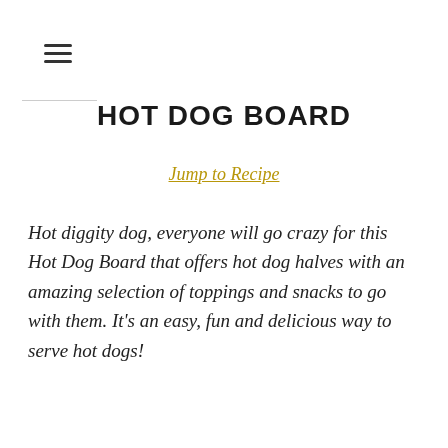≡
HOT DOG BOARD
Jump to Recipe
Hot diggity dog, everyone will go crazy for this Hot Dog Board that offers hot dog halves with an amazing selection of toppings and snacks to go with them. It's an easy, fun and delicious way to serve hot dogs!